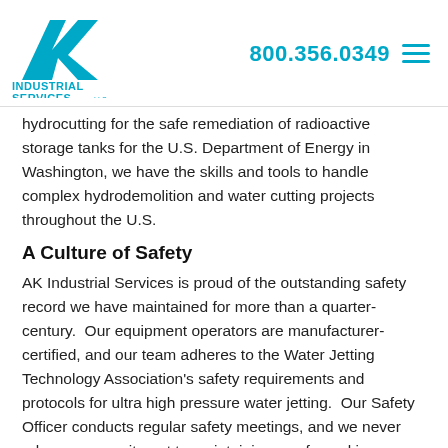[Figure (logo): AK Industrial Services LLC logo with blue angular AK letterform and teal text]
800.356.0349
hydrocutting for the safe remediation of radioactive storage tanks for the U.S. Department of Energy in Washington, we have the skills and tools to handle complex hydrodemolition and water cutting projects throughout the U.S.
A Culture of Safety
AK Industrial Services is proud of the outstanding safety record we have maintained for more than a quarter-century.  Our equipment operators are manufacturer-certified, and our team adheres to the Water Jetting Technology Association's safety requirements and protocols for ultra high pressure water jetting.  Our Safety Officer conducts regular safety meetings, and we never relax our commitment to maintaining a safe working environment for our employees and clients.  For each project, our team reviews site-specific hazards, and the safety protocols that will ensure a safe and healthy